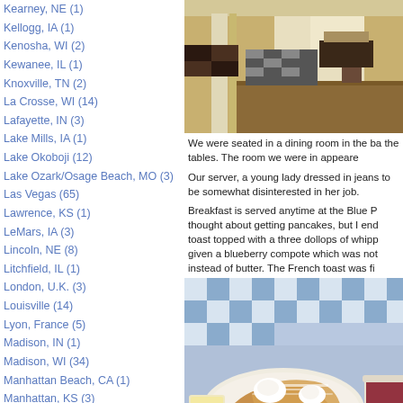Kearney, NE (1)
Kellogg, IA (1)
Kenosha, WI (2)
Kewanee, IL (1)
Knoxville, TN (2)
La Crosse, WI (14)
Lafayette, IN (3)
Lake Mills, IA (1)
Lake Okoboji (12)
Lake Ozark/Osage Beach, MO (3)
Las Vegas (65)
Lawrence, KS (1)
LeMars, IA (3)
Lincoln, NE (8)
Litchfield, IL (1)
London, U.K. (3)
Louisville (14)
Lyon, France (5)
Madison, IN (1)
Madison, WI (34)
Manhattan Beach, CA (1)
Manhattan, KS (3)
Manitowoc, WI (1)
Maquoketa, IA (1)
Marshalltown, IA (2)
Mason City, IA (1)
[Figure (photo): Interior of a restaurant dining room with checkered tablecloths, a long hallway, hardwood floors, white columns, and a person seated at a table.]
We were seated in a dining room in the ba the tables.  The room we were in appeare
Our server, a young lady dressed in jeans to be somewhat disinterested in her job.
Breakfast is served anytime at the Blue P thought about getting pancakes, but I end toast topped with a three dollops of whipp given a blueberry compote which was not instead of butter.  The French toast was fi
[Figure (photo): Close-up photo of French toast on a plate with whipped cream dollops, powdered sugar, and a side of blueberry compote, on a blue and white checkered tablecloth.]